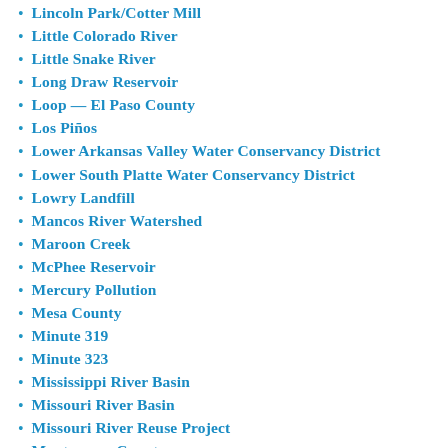Lincoln Park/Cotter Mill
Little Colorado River
Little Snake River
Long Draw Reservoir
Loop — El Paso County
Los Piños
Lower Arkansas Valley Water Conservancy District
Lower South Platte Water Conservancy District
Lowry Landfill
Mancos River Watershed
Maroon Creek
McPhee Reservoir
Mercury Pollution
Mesa County
Minute 319
Minute 323
Mississippi River Basin
Missouri River Basin
Missouri River Reuse Project
Montezuma County
Montrose
Monument Lake
Morgan County
National Western Center
Navajo River